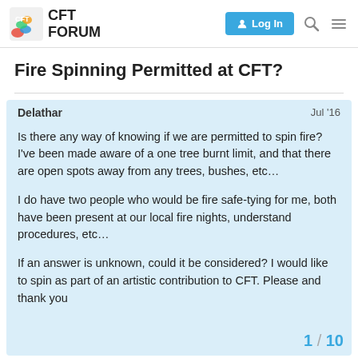CFT FORUM — Log In
Fire Spinning Permitted at CFT?
Delathar  Jul '16
Is there any way of knowing if we are permitted to spin fire? I've been made aware of a one tree burnt limit, and that there are open spots away from any trees, bushes, etc…

I do have two people who would be fire safe-tying for me, both have been present at our local fire nights, understand procedures, etc…

If an answer is unknown, could it be considered? I would like to spin as part of an artistic contribution to CFT. Please and thank you
1 / 10